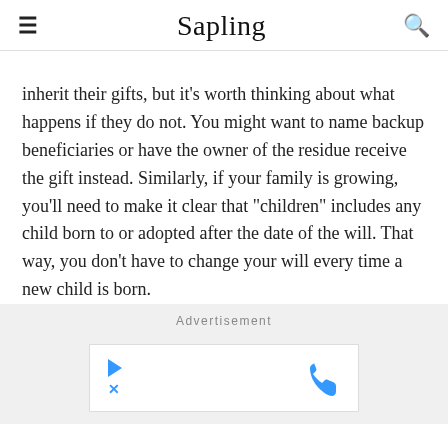Sapling
inherit their gifts, but it's worth thinking about what happens if they do not. You might want to name backup beneficiaries or have the owner of the residue receive the gift instead. Similarly, if your family is growing, you'll need to make it clear that "children" includes any child born to or adopted after the date of the will. That way, you don't have to change your will every time a new child is born.
Advertisement
[Figure (other): Advertisement banner with play button icon and phone icon]